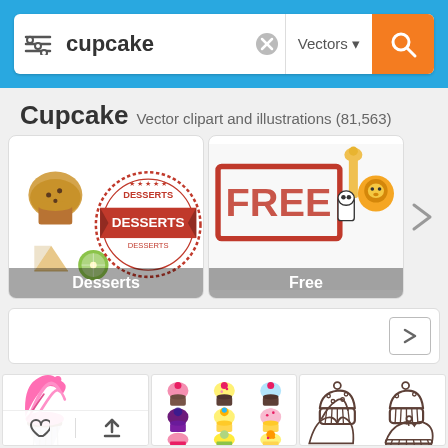[Figure (screenshot): Search bar with filter icon, 'cupcake' text input, clear button, 'Vectors' dropdown and orange search button on a blue background]
Cupcake Vector clipart and illustrations (81,563)
[Figure (screenshot): Two category cards: 'Desserts' showing dessert clipart and stamp, and 'Free' showing FREE stamp and animal clipart, with a right arrow]
[Figure (screenshot): Second filter row with a right arrow button]
[Figure (screenshot): Image grid showing: large pink swirl cupcake illustration, grid of 9 colorful cupcakes, and 4 outline-style cupcake drawings]